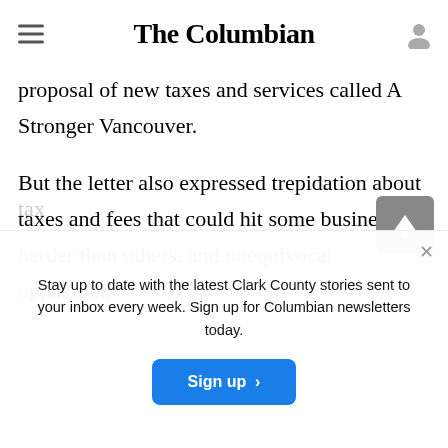The Columbian
coalition of local business owners expressed support for the spirit behind an overarching proposal of new taxes and services called A Stronger Vancouver.
But the letter also expressed trepidation about taxes and fees that could hit some businesses harder than others, and unequivocal opposition to
tax
Stay up to date with the latest Clark County stories sent to your inbox every week. Sign up for Columbian newsletters today.